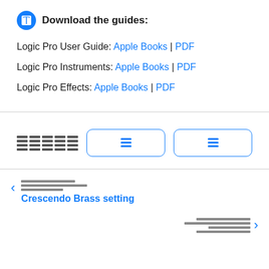Download the guides:
Logic Pro User Guide: Apple Books | PDF
Logic Pro Instruments: Apple Books | PDF
Logic Pro Effects: Apple Books | PDF
[Figure (screenshot): UI navigation controls with a list/grid icon and two pill-shaped buttons with list icons]
[Figure (screenshot): Previous navigation link with left chevron and lines icon, label: Crescendo Brass setting]
[Figure (screenshot): Next navigation area with lines icon and right chevron]